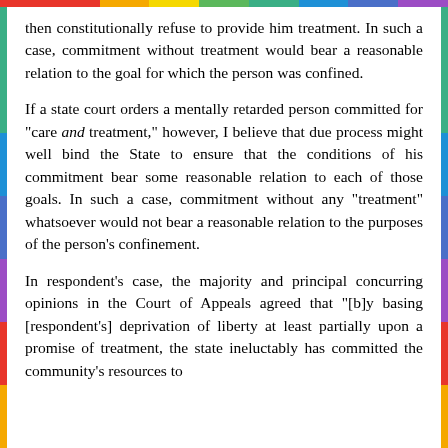then constitutionally refuse to provide him treatment. In such a case, commitment without treatment would bear a reasonable relation to the goal for which the person was confined.
If a state court orders a mentally retarded person committed for "care and treatment," however, I believe that due process might well bind the State to ensure that the conditions of his commitment bear some reasonable relation to each of those goals. In such a case, commitment without any "treatment" whatsoever would not bear a reasonable relation to the purposes of the person's confinement.
In respondent's case, the majority and principal concurring opinions in the Court of Appeals agreed that "[b]y basing [respondent's] deprivation of liberty at least partially upon a promise of treatment, the state ineluctably has committed the community's resources to